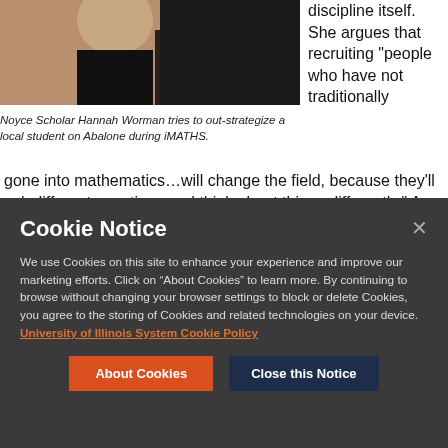[Figure (photo): Photo of Noyce Scholar Hannah Worman playing Abalone with a local student during iMATHS event, showing partial view of a person against a dark background]
Noyce Scholar Hannah Worman tries to out-strategize a local student on Abalone during iMATHS.
discipline itself. She argues that recruiting "people who have not traditionally gone into mathematics…will change the field, because they'll ask different questions and think about things differently." As an example, she cites the positive changes in chemistry labs staffed mostly by
Cookie Notice
We use Cookies on this site to enhance your experience and improve our marketing efforts. Click on "About Cookies" to learn more. By continuing to browse without changing your browser settings to block or delete Cookies, you agree to the storing of Cookies and related technologies on your device.  University of Illinois System Cookie Policy